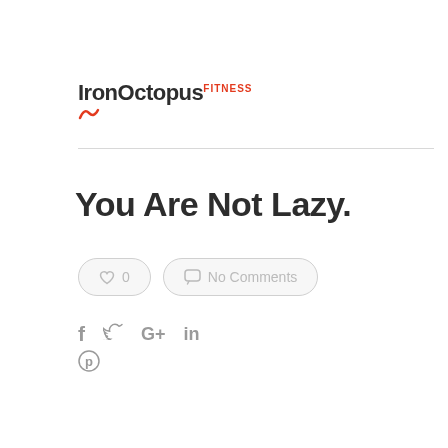[Figure (logo): IronOctopus Fitness logo with stylized text and small orange/red icon]
You Are Not Lazy.
[Figure (infographic): Two pill-shaped buttons: heart icon with '0' likes, and speech bubble icon with 'No Comments']
[Figure (infographic): Social share icons: Facebook (f), Twitter (bird), Google+ (G+), LinkedIn (in), Pinterest (circle P)]